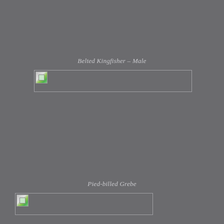Belted Kingfisher – Male
[Figure (photo): Broken/missing image placeholder for Belted Kingfisher Male photo]
Pied-billed Grebe
[Figure (photo): Broken/missing image placeholder for Pied-billed Grebe photo]